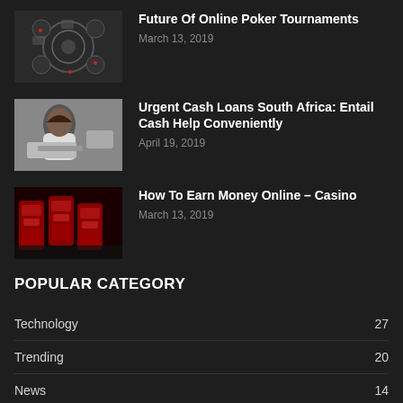[Figure (photo): Poker cards and chips pattern image]
Future Of Online Poker Tournaments
March 13, 2019
[Figure (photo): Woman working on laptop]
Urgent Cash Loans South Africa: Entail Cash Help Conveniently
April 19, 2019
[Figure (photo): Row of red casino slot machines]
How To Earn Money Online – Casino
March 13, 2019
POPULAR CATEGORY
Technology    27
Trending    20
News    14